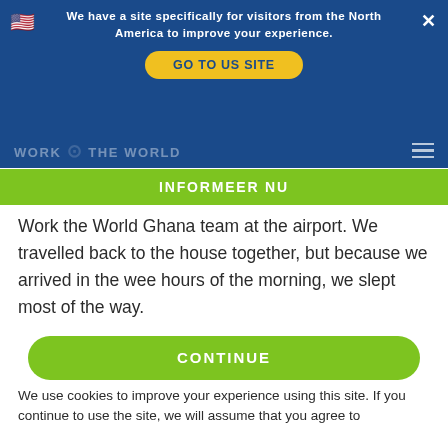We have a site specifically for visitors from the North America to improve your experience.
GO TO US SITE
INFORMEER NU
Work the World Ghana team at the airport. We travelled back to the house together, but because we arrived in the wee hours of the morning, we slept most of the way.

We went to visit our placement hospital for the first time on the Monday morning. It was very different. It was really busy, and there were patients just sat on the floor because there wasn't room. I even saw a chicken roaming around!
CONTINUE
We use cookies to improve your experience using this site. If you continue to use the site, we will assume that you agree to